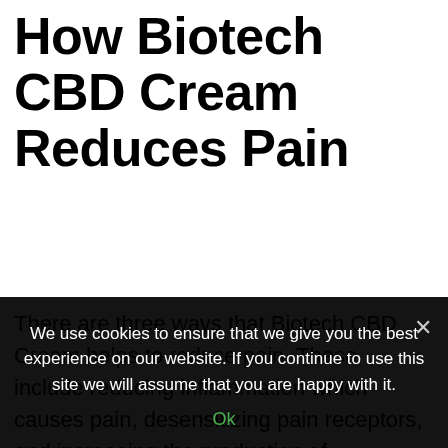How Biotech CBD Cream Reduces Pain
There are three ways that Biotech CBD Cream helps to reduce pain. These include reducing inflammation which causes pain, desensitizing pain receptors, and increasing the production of neurotransmitters involved in pain relief.
One of the major causes of pain is inflammation. Reduce the inflammation you reduce the pain.
We use cookies to ensure that we give you the best experience on our website. If you continue to use this site we will assume that you are happy with it.
Ok